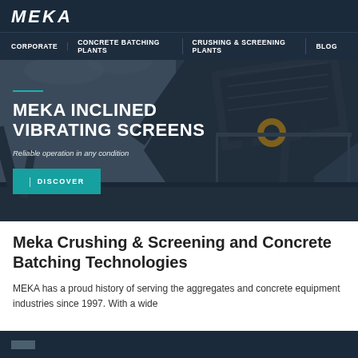[Figure (screenshot): MEKA website screenshot showing navigation bar with logo and menu items: CORPORATE, CONCRETE BATCHING PLANTS, CRUSHING & SCREENING PLANTS, BLOG, and a hero banner featuring an inclined vibrating screen machine with text overlay 'MEKA INCLINED VIBRATING SCREENS', subtitle 'Reliable operation in any condition', and a DISCOVER button.]
Meka Crushing & Screening and Concrete Batching Technologies
MEKA has a proud history of serving the aggregates and concrete equipment industries since 1997. With a wide